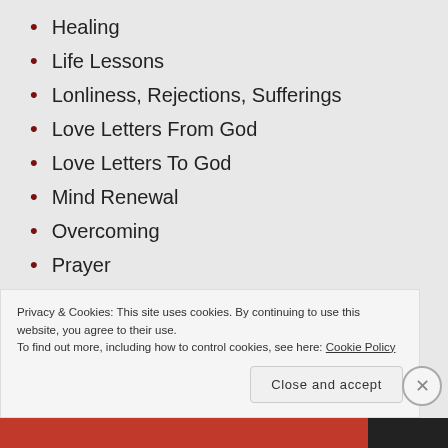Healing
Life Lessons
Lonliness, Rejections, Sufferings
Love Letters From God
Love Letters To God
Mind Renewal
Overcoming
Prayer
Prophesies
Repentance
Self-Worth
Privacy & Cookies: This site uses cookies. By continuing to use this website, you agree to their use.
To find out more, including how to control cookies, see here: Cookie Policy